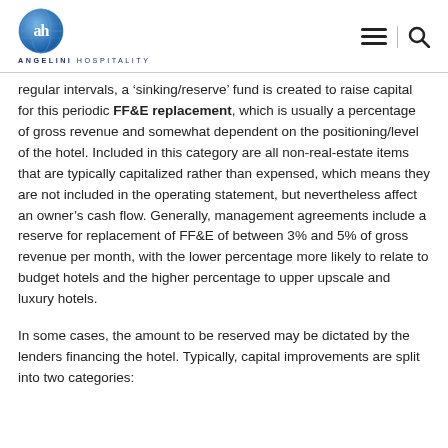ANGELINI HOSPITALITY
regular intervals, a ‘sinking/reserve’ fund is created to raise capital for this periodic FF&E replacement, which is usually a percentage of gross revenue and somewhat dependent on the positioning/level of the hotel. Included in this category are all non-real-estate items that are typically capitalized rather than expensed, which means they are not included in the operating statement, but nevertheless affect an owner’s cash flow. Generally, management agreements include a reserve for replacement of FF&E of between 3% and 5% of gross revenue per month, with the lower percentage more likely to relate to budget hotels and the higher percentage to upper upscale and luxury hotels.
In some cases, the amount to be reserved may be dictated by the lenders financing the hotel. Typically, capital improvements are split into two categories: